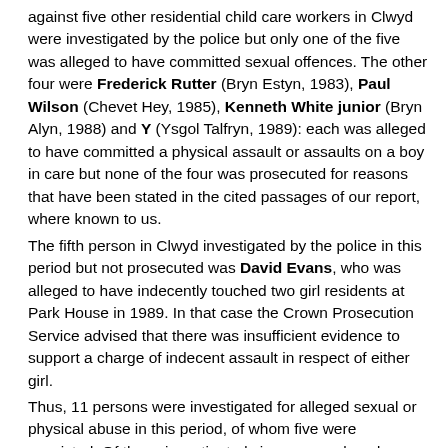against five other residential child care workers in Clwyd were investigated by the police but only one of the five was alleged to have committed sexual offences. The other four were Frederick Rutter (Bryn Estyn, 1983), Paul Wilson (Chevet Hey, 1985), Kenneth White junior (Bryn Alyn, 1988) and Y (Ysgol Talfryn, 1989): each was alleged to have committed a physical assault or assaults on a boy in care but none of the four was prosecuted for reasons that have been stated in the cited passages of our report, where known to us. The fifth person in Clwyd investigated by the police in this period but not prosecuted was David Evans, who was alleged to have indecently touched two girl residents at Park House in 1989. In that case the Crown Prosecution Service advised that there was insufficient evidence to support a charge of indecent assault in respect of either girl. Thus, 11 persons were investigated for alleged sexual or physical abuse in this period, of whom five were convicted. Of those investigated six were employed as residential care staff at the time of the alleged offences and one (Y) was employed as a teacher at a residential school.